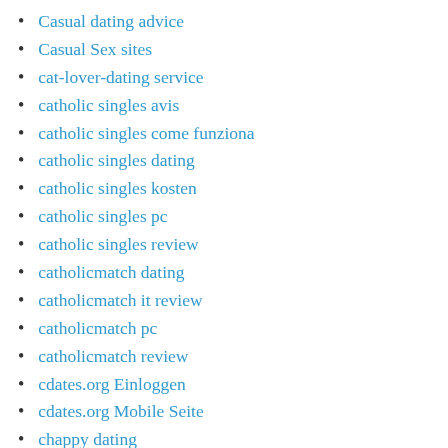Casual dating advice
Casual Sex sites
cat-lover-dating service
catholic singles avis
catholic singles come funziona
catholic singles dating
catholic singles kosten
catholic singles pc
catholic singles review
catholicmatch dating
catholicmatch it review
catholicmatch pc
catholicmatch review
cdates.org Einloggen
cdates.org Mobile Seite
chappy dating